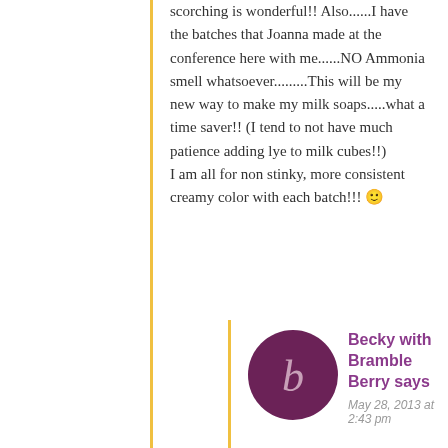scorching is wonderful!! Also......I have the batches that Joanna made at the conference here with me......NO Ammonia smell whatsoever.........This will be my new way to make my milk soaps.....what a time saver!! (I tend to not have much patience adding lye to milk cubes!!)
I am all for non stinky, more consistent creamy color with each batch!!! 🙂
Becky with Bramble Berry says
May 28, 2013 at 2:43 pm